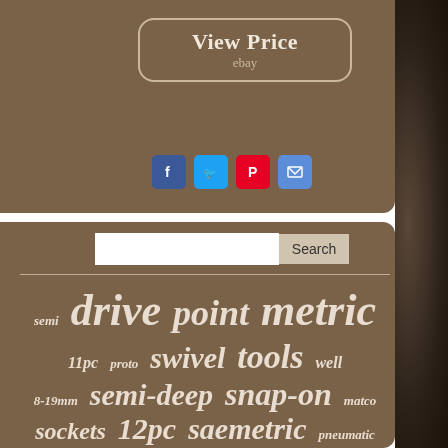[Figure (screenshot): View Price button on brown background with ebay label]
[Figure (infographic): Social sharing icons: Facebook, Twitter, Pinterest, Email]
[Figure (screenshot): Search input box with Search button]
semi drive point metric 11pc proto swivel tools well 8-19mm semi-deep snap-on matco sockets 12pc saemetric pneumatic tray 211sfsy inch 12-point impact deep 6-point